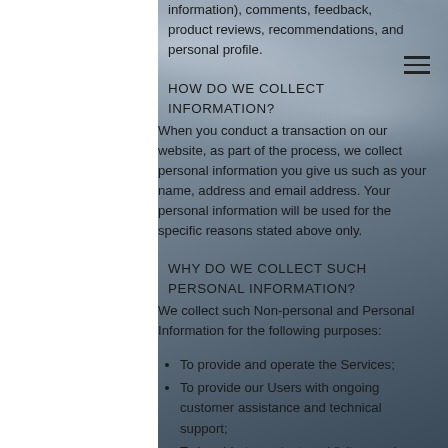information), comments, feedback, product reviews, recommendations, and personal profile.
HOW DO WE COLLECT INFORMATION?
When you conduct a transaction on our website, as part of the process, we collect personal information you give us such as your name, address and email address. Your personal information will be used for the specific reasons stated above only.
WHY DO WE COLLECT SUCH PERSONAL INFORMATION?
We collect such Non-personal and Personal Information for the following purposes:
To provide and operate the Services;
To provide our Users with ongoing customer assistance and technical support;
To be able to contact our Visitors and Users with general or personalized service-related notices and promotional messages;
To...